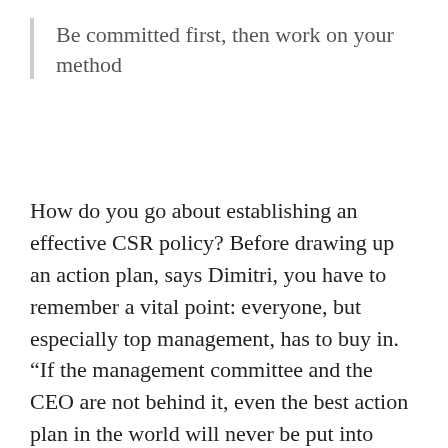Be committed first, then work on your method
How do you go about establishing an effective CSR policy? Before drawing up an action plan, says Dimitri, you have to remember a vital point: everyone, but especially top management, has to buy in. “If the management committee and the CEO are not behind it, even the best action plan in the world will never be put into practice”, says Dimitri. Part of his job focuses on teaching and the importance of commitment. “While there may be factors of